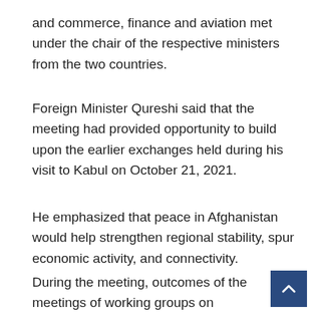and commerce, finance and aviation met under the chair of the respective ministers from the two countries.
Foreign Minister Qureshi said that the meeting had provided opportunity to build upon the earlier exchanges held during his visit to Kabul on October 21, 2021.
He emphasized that peace in Afghanistan would help strengthen regional stability, spur economic activity, and connectivity.
During the meeting, outcomes of the meetings of working groups on strengthening bilateral and transit trade regime and facilitating movement of people by land and air were shared.